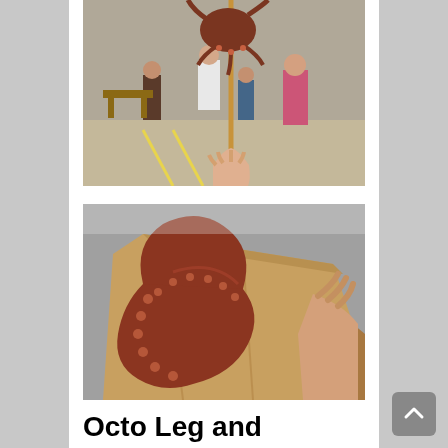[Figure (photo): A person holding a grilled octopus on a stick at an outdoor street fair, with a crowd of people in the background.]
[Figure (photo): A cooked octopus tentacle wrapped in brown paper bag, being held by a hand.]
Octo Leg and